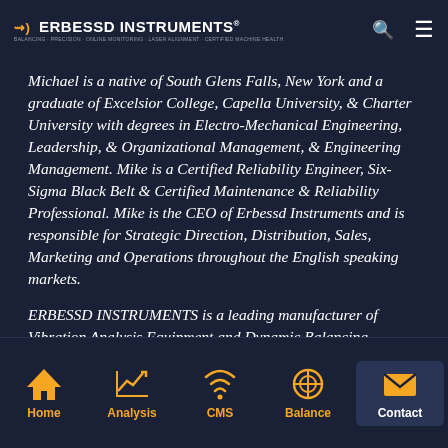ERBESSD INSTRUMENTS
Michael is a native of South Glens Falls, New York and a graduate of Excelsior College, Capella University, & Charter University with degrees in Electro-Mechanical Engineering, Leadership, & Organizational Management, & Engineering Management. Mike is a Certified Reliability Engineer, Six-Sigma Black Belt & Certified Maintenance & Reliability Professional. Mike is the CEO of Erbessd Instruments and is responsible for Strategic Direction, Distribution, Sales, Marketing and Operations throughout the English speaking markets.
ERBESSD INSTRUMENTS is a leading manufacturer of Vibration Analysis Equipment and Dynamic Balancing
Home | Analysis | CMS | Balance | Contact